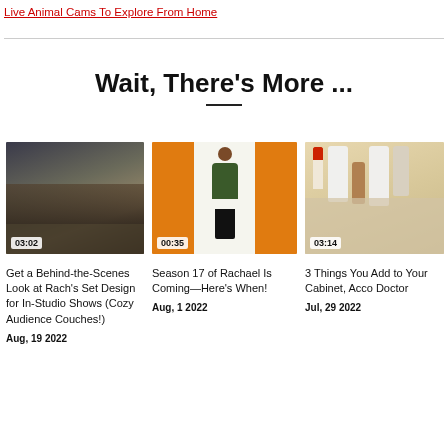Live Animal Cams To Explore From Home
Wait, There's More ...
[Figure (photo): Behind-the-scenes studio set with darkened ceiling decorations, timestamp 03:02]
Get a Behind-the-Scenes Look at Rach's Set Design for In-Studio Shows (Cozy Audience Couches!)
Aug, 19 2022
[Figure (photo): Woman standing against orange background, timestamp 00:35]
Season 17 of Rachael Is Coming—Here's When!
Aug, 1 2022
[Figure (photo): Medicine bottles on a shelf, timestamp 03:14]
3 Things You Add to Your Cabinet, Acco Doctor
Jul, 29 2022